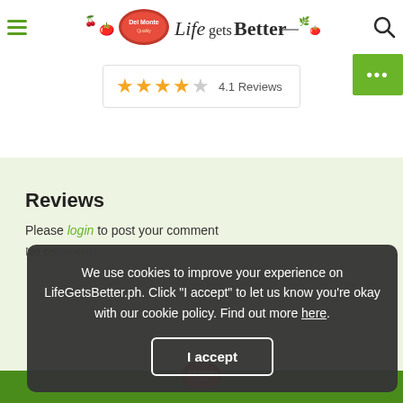[Figure (logo): Del Monte 'Life Gets Better' logo with decorative fruits and tagline]
4.1 Reviews
Reviews
Please login to post your comment
No comments
We use cookies to improve your experience on LifeGetsBetter.ph. Click "I accept" to let us know you're okay with our cookie policy. Find out more here.
I accept